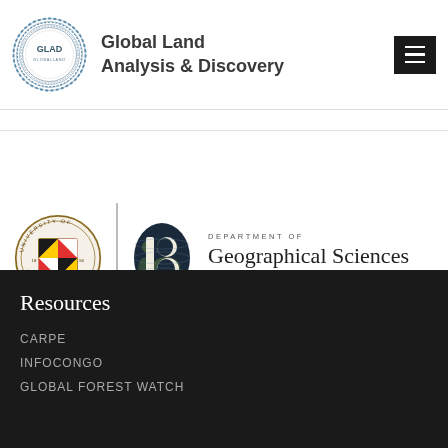[Figure (logo): GLAD (Global Land Analysis & Discovery) logo with circular design and navigation menu button]
Global Land Analysis & Discovery
[Figure (logo): University of Maryland seal and Department of Geographical Sciences 'BE GLOBAL' logo]
Resources
CARPE
INFOCONGO
GLOBAL FOREST WATCH